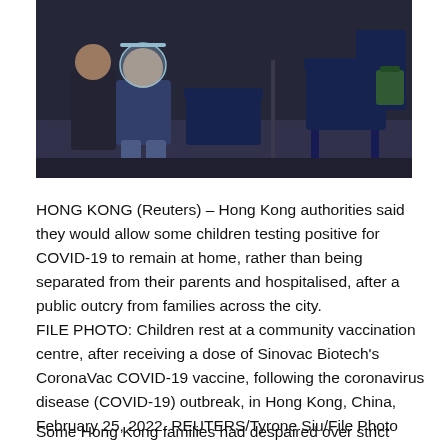[Figure (photo): Children sitting in chairs at a community vaccination centre, one child wearing a face shield and mask, in Hong Kong]
HONG KONG (Reuters) – Hong Kong authorities said they would allow some children testing positive for COVID-19 to remain at home, rather than being separated from their parents and hospitalised, after a public outcry from families across the city.
FILE PHOTO: Children rest at a community vaccination centre, after receiving a dose of Sinovac Biotech's CoronaVac COVID-19 vaccine, following the coronavirus disease (COVID-19) outbreak, in Hong Kong, China, February 25, 2022. REUTERS/Tyrone Siu/File Photo
Some Hong Kong families had despaired over strict COVID rules that saw even toddlers in some cases taken